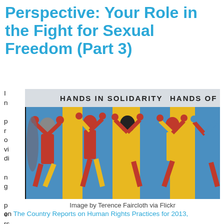Perspective: Your Role in the Fight for Sexual Freedom (Part 3)
[Figure (photo): Colorful mural painting showing stylized human figures in red, yellow, and blue with text 'HANDS IN SOLIDARITY' and 'HANDS OF' visible at the top. The figures are depicted in a bold, geometric style raising their arms together.]
Image by Terence Faircloth via Flickr
In providing perspective on The Country Reports on Human Rights Practices for 2013,